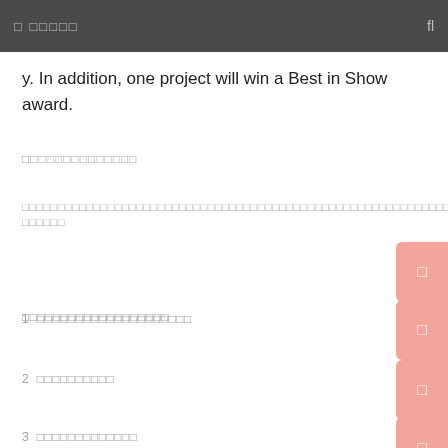□ □□□□   fl
y. In addition, one project will win a Best in Show award.
□□□□□□□□□□□□□□
□□□□□□□□□□□□□□□□□□□□□□□□□□□□□□□□□□□□□□□□□□□□□□□□□□□□□□□□□□□□□□□□□□□□□□□□□□□□□□□ □□□□□□
□□□□□□□□□□□□□□□□□□□
1  □□□□□□□□□□□□□□□□□□□□
2  □□□□□□□□□□
3  □□□□□□□□□□□□□
□□□□□□□□□□□□□□